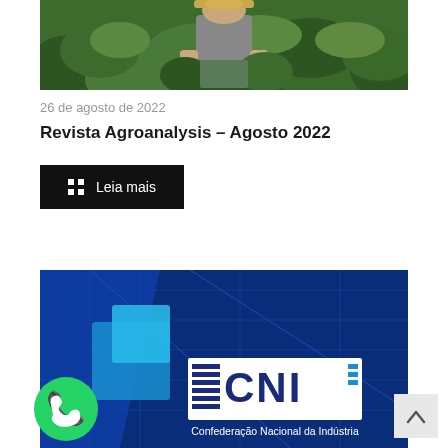[Figure (photo): Photo of a farmer in a field with green plants, partially visible from waist up with hat]
26 de agosto de 2022
Revista Agroanalysis – Agosto 2022
Leia mais
[Figure (photo): Blue branded image showing CNI (Confederação Nacional da Indústria) logo on a dark blue background with geometric shapes]